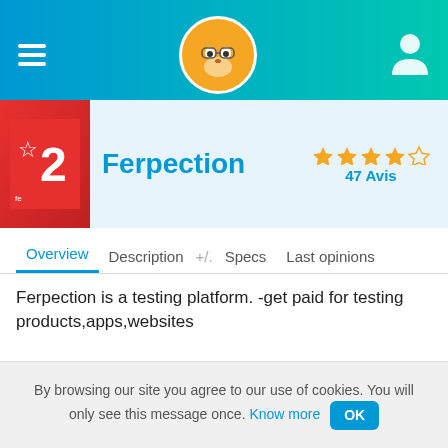[Figure (screenshot): Top navigation bar with hamburger menu icon, FoxyRating fox logo, and user profile icon on a blue-to-teal gradient background]
[Figure (screenshot): App card strip showing Ferpection logo (red with star and number 2), Ferpection app name in blue, and star rating with 47 Avis]
Overview  Description  +/.  Specs  Last opinions
Ferpection is a testing platform. -get paid for testing products,apps,websites
Payments reported on FoxyRating
Payment Solutions
Entry on FoxyRating
7 years
By browsing our site you agree to our use of cookies. You will only see this message once. Know more OK